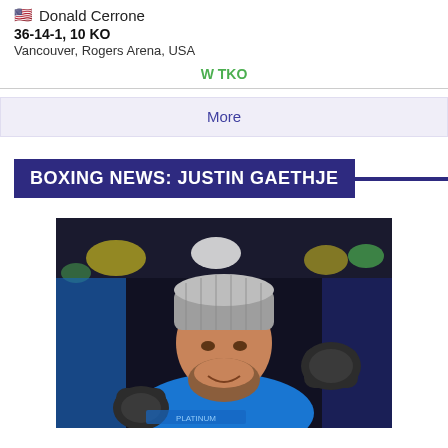🇺🇸 Donald Cerrone
36-14-1, 10 KO
Vancouver, Rogers Arena, USA
W TKO
More
BOXING NEWS: JUSTIN GAETHJE
[Figure (photo): MMA fighter Justin Gaethje wearing a grey knit beanie and MMA gloves, smiling, with a blue shirt and cage/ring background with yellow and green lights.]